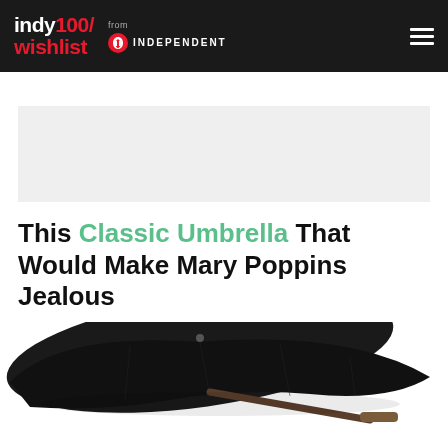indy100/wishlist from INDEPENDENT
[Figure (other): Light gray advertisement placeholder block]
This Classic Umbrella That Would Make Mary Poppins Jealous
[Figure (photo): A black classic umbrella photographed from the side, open, with a dark wooden handle, on a white background.]